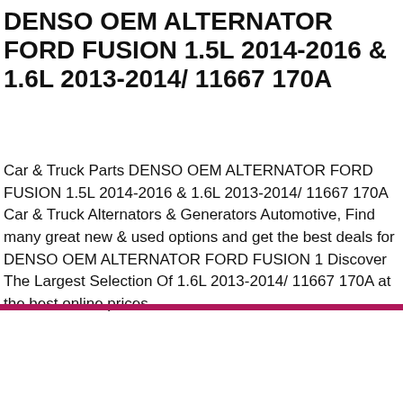DENSO OEM ALTERNATOR FORD FUSION 1.5L 2014-2016 & 1.6L 2013-2014/ 11667 170A
Car & Truck Parts DENSO OEM ALTERNATOR FORD FUSION 1.5L 2014-2016 & 1.6L 2013-2014/ 11667 170A Car & Truck Alternators & Generators Automotive, Find many great new & used options and get the best deals for DENSO OEM ALTERNATOR FORD FUSION 1 Discover The Largest Selection Of 1.6L 2013-2014/ 11667 170A at the best online prices
[Figure (screenshot): Data Privacy Bot chat popup with robot avatar, header 'Data Privacy Bot', close X button, GDPR consent message, and two buttons: 'Yes, I Accept' and 'No, Not Now']